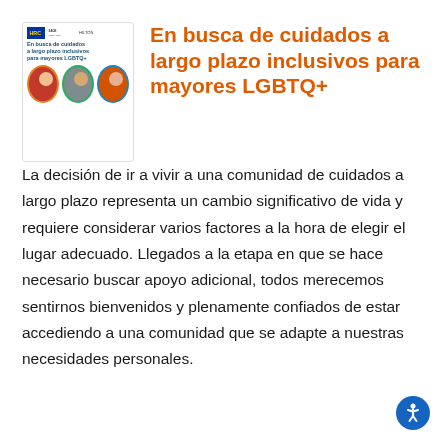[Figure (illustration): Book cover thumbnail for 'En busca de cuidados a largo plazo inclusivos para mayores LGBTQ+' with HRC and SAGE logos and three circular photos of older adults.]
En busca de cuidados a largo plazo inclusivos para mayores LGBTQ+
La decisión de ir a vivir a una comunidad de cuidados a largo plazo representa un cambio significativo de vida y requiere considerar varios factores a la hora de elegir el lugar adecuado. Llegados a la etapa en que se hace necesario buscar apoyo adicional, todos merecemos sentirnos bienvenidos y plenamente confiados de estar accediendo a una comunidad que se adapte a nuestras necesidades personales.